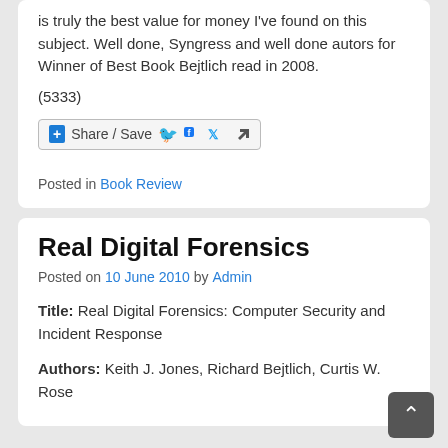is truly the best value for money I've found on this subject. Well done, Syngress and well done autors for Winner of Best Book Bejtlich read in 2008.
(5333)
[Figure (other): Share / Save button with Facebook, Twitter, and share icons]
Posted in Book Review
Real Digital Forensics
Posted on 10 June 2010 by Admin
Title: Real Digital Forensics: Computer Security and Incident Response
Authors: Keith J. Jones, Richard Bejtlich, Curtis W. Rose